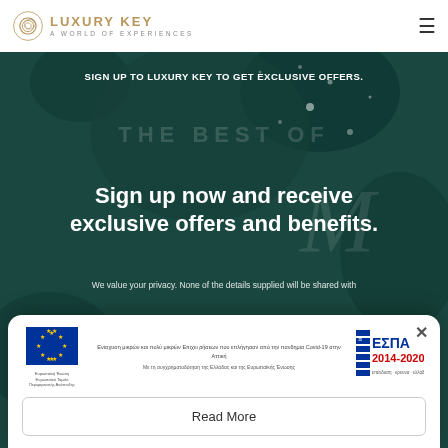[Figure (logo): Luxury Key logo with spiral emblem and text 'LUXURY KEY - A WORLD OF EXPERIENCES']
[Figure (photo): Dark teal/green hero background with bokeh light effects]
SIGN UP TO LUXURY KEY TO GET EXCLUSIVE OFFERS.
Sign up now and receive exclusive offers and benefits.
We value your privacy. None of the details supplied will be shared with
[Figure (infographic): EU funding popup with European Union flag logo, ESPA 2014-2020 logo, Greek text about support for small and medium enterprises affected by Covid-19 pandemic]
Read More
LAST NAME